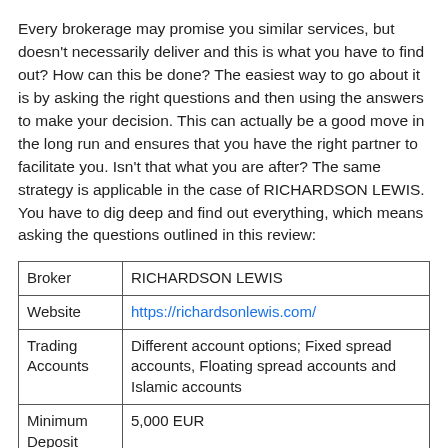Every brokerage may promise you similar services, but doesn't necessarily deliver and this is what you have to find out? How can this be done? The easiest way to go about it is by asking the right questions and then using the answers to make your decision. This can actually be a good move in the long run and ensures that you have the right partner to facilitate you. Isn't that what you are after? The same strategy is applicable in the case of RICHARDSON LEWIS. You have to dig deep and find out everything, which means asking the questions outlined in this review:
| Broker | RICHARDSON LEWIS |
| --- | --- |
| Website | https://richardsonlewis.com/ |
| Trading Accounts | Different account options; Fixed spread accounts, Floating spread accounts and Islamic accounts |
| Minimum Deposit | 5,000 EUR |
| Assets | Forex currency pairs, Stocks, Cryptocurrencies, Indices and Commodities |